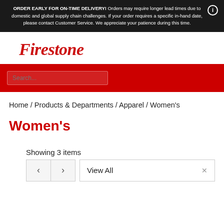ORDER EARLY FOR ON-TIME DELIVERY! Orders may require longer lead times due to domestic and global supply chain challenges. If your order requires a specific in-hand date, please contact Customer Service. We appreciate your patience during this time.
[Figure (logo): Firestone brand logo in red italic serif font]
Search...
Home / Products & Departments / Apparel / Women's
Women's
Showing 3 items
View All